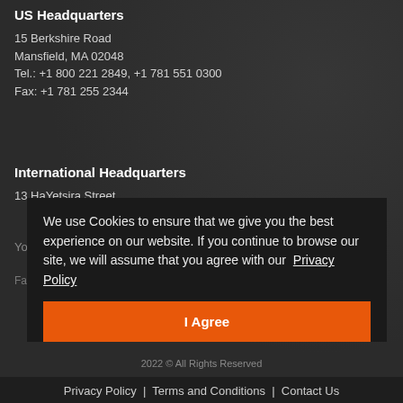US Headquarters
15 Berkshire Road
Mansfield, MA 02048
Tel.: +1 800 221 2849, +1 781 551 0300
Fax: +1 781 255 2344
International Headquarters
13 HaYetsira Street
Yokneam Illit, Israel
Fax: +9 2 4 995 7820
We use Cookies to ensure that we give you the best experience on our website. If you continue to browse our site, we will assume that you agree with our Privacy Policy
I Agree
2022 © All Rights Reserved
Privacy Policy | Terms and Conditions | Contact Us